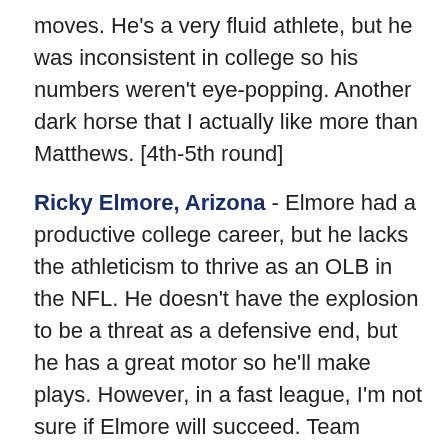moves. He's a very fluid athlete, but he was inconsistent in college so his numbers weren't eye-popping. Another dark horse that I actually like more than Matthews. [4th-5th round]
Ricky Elmore, Arizona - Elmore had a productive college career, but he lacks the athleticism to thrive as an OLB in the NFL. He doesn't have the explosion to be a threat as a defensive end, but he has a great motor so he'll make plays. However, in a fast league, I'm not sure if Elmore will succeed. Team leader and solid fundamentals. [6th round]
---
If I had to rank the OLBs that I would want the Patriots to take, it would be: